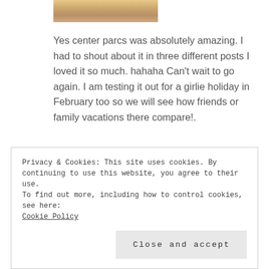[Figure (photo): Partial view of a person with blonde hair, cropped at top of page]
Yes center parcs was absolutely amazing. I had to shout about it in three different posts I loved it so much. hahaha Can’t wait to go again. I am testing it out for a girlie holiday in February too so we will see how friends or family vacations there compare!.
Privacy & Cookies: This site uses cookies. By continuing to use this website, you agree to their use.
To find out more, including how to control cookies, see here:
Cookie Policy

Close and accept